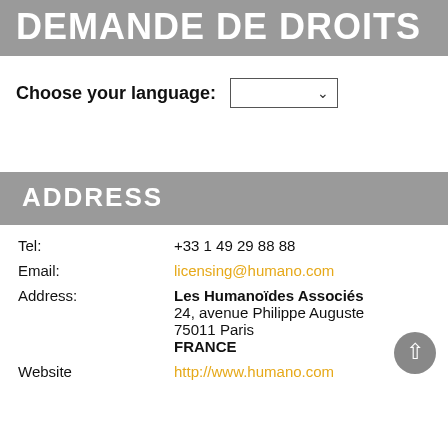DEMANDE DE DROITS
Choose your language:
ADDRESS
Tel: +33 1 49 29 88 88
Email: licensing@humano.com
Address: Les Humanoïdes Associés 24, avenue Philippe Auguste 75011 Paris FRANCE
Website http://www.humano.com